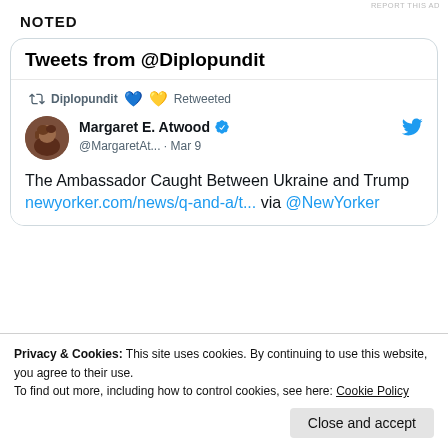REPORT THIS AD
NOTED
[Figure (screenshot): Twitter/X embedded tweet widget titled 'Tweets from @Diplopundit' showing a retweet by Diplopundit of Margaret E. Atwood's tweet from Mar 9 about 'The Ambassador Caught Between Ukraine and Trump' with link newyorker.com/news/q-and-a/t... via @NewYorker]
Privacy & Cookies: This site uses cookies. By continuing to use this website, you agree to their use.
To find out more, including how to control cookies, see here: Cookie Policy
Close and accept